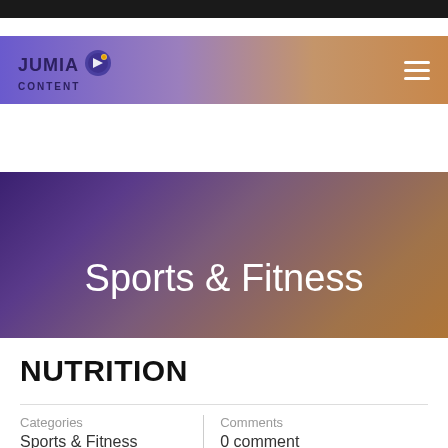[Figure (screenshot): Jumia Content website header with logo on the left and hamburger menu on the right, gradient background from purple to orange-brown]
Sports & Fitness
Home / Blog / Sports & Fitness / NUTRITION
NUTRITION
Categories
Sports & Fitness
Comments
0 comment